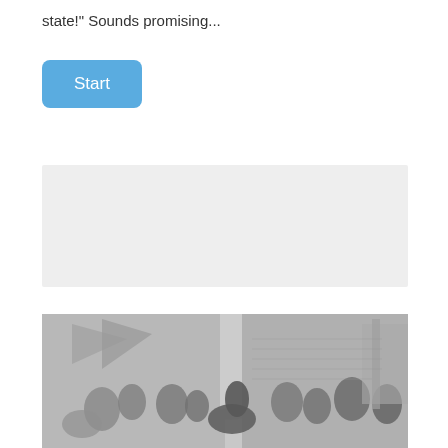state!" Sounds promising...
[Figure (other): A blue rounded rectangle button labeled 'Start']
[Figure (other): A light gray empty rectangle placeholder box]
[Figure (illustration): A black and white historical engraving showing a crowd scene with figures on horseback, flags, and classical architecture in the background]